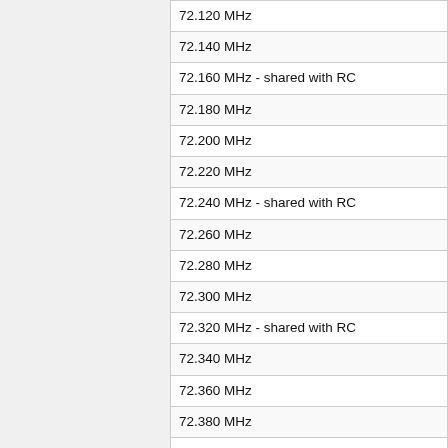| 72.120 MHz |
| 72.140 MHz |
| 72.160 MHz - shared with RC |
| 72.180 MHz |
| 72.200 MHz |
| 72.220 MHz |
| 72.240 MHz - shared with RC |
| 72.260 MHz |
| 72.280 MHz |
| 72.300 MHz |
| 72.320 MHz - shared with RC |
| 72.340 MHz |
| 72.360 MHz |
| 72.380 MHz |
| 72.400 MHz - shared with RC |
| 72.440 MHz - on-site industrial control use only |
| 72.480 MHz - on-site industrial control use only |